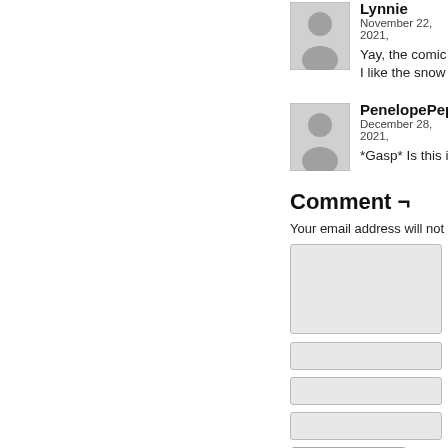[Figure (illustration): User avatar placeholder (silhouette) for Lynnie]
Lynnie
November 22, 2021,
Yay, the comic is b
I like the snow bisc
[Figure (illustration): User avatar placeholder (silhouette) for PenelopePep]
PenelopePep
December 28, 2021,
*Gasp* Is this is th
Comment ¬
Your email address will not b